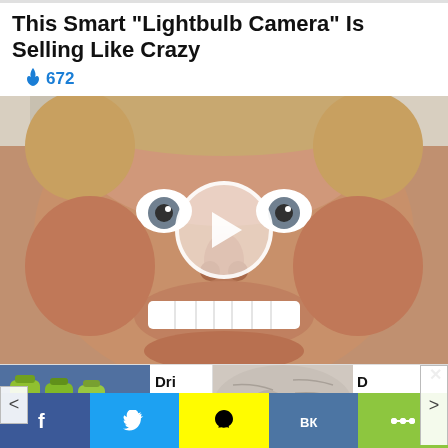This Smart "Lightbulb Camera" Is Selling Like Crazy
🔥 672
[Figure (photo): Close-up video thumbnail of a man's face with wide eyes and a big grin, with a circular play button overlay in the center]
[Figure (photo): Ad thumbnail showing green bottles with text 'Drink Th...']
[Figure (photo): Ad thumbnail showing close-up of elderly skin/face with text 'Doc...']
Dri nk Th
D oc Dr
f  (Twitter)  (Snapchat)  VK  (Share)